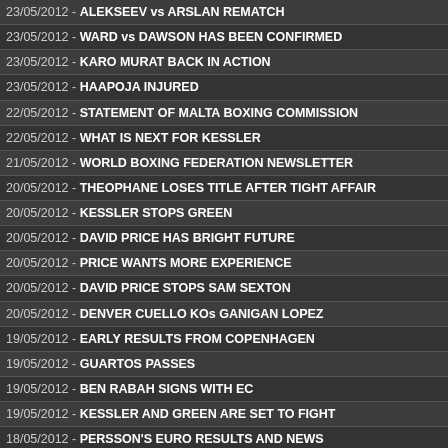23/05/2012 - ALEKSEEV vs ARSLAN REMATCH
23/05/2012 - WARD vs DAWSON HAS BEEN CONFIRMED
23/05/2012 - KARO MURAT BACK IN ACTION
23/05/2012 - HAAPOJA INJURED
22/05/2012 - STATEMENT OF MALTA BOXING COMMISSION
22/05/2012 - WHAT IS NEXT FOR KESSLER
21/05/2012 - WORLD BOXING FEDERATION NEWSLETTER
20/05/2012 - THEOPHANE LOSES TITLE AFTER TIGHT AFFAIR
20/05/2012 - KESSLER STOPS GREEN
20/05/2012 - DAVID PRICE HAS BRIGHT FUTURE
20/05/2012 - PRICE WANTS MORE EXPERIENCE
20/05/2012 - DAVID PRICE STOPS SAM SEXTON
20/05/2012 - DENVER CUELLO KOs GANIGAN LOPEZ
19/05/2012 - EARLY RESULTS FROM COPENHAGEN
19/05/2012 - GUARTOS PASSES
19/05/2012 - BEN RABAH SIGNS WITH EC
19/05/2012 - KESSLER AND GREEN ARE SET TO FIGHT
18/05/2012 - PERSSON'S EURO RESULTS AND NEWS
17/05/2012 - DJELKHIR vs TERAN JUNE 8
17/05/2012 - KOTELNIK ANNOUNCED HIS RETIREMENT
17/05/2012 - AN OPEN LETTER IN REPLY TO BBBofC'S PRESS STATE
16/05/2012 - DAVID PRICE NEEDS TO BECOME BRITISH CHAMPION
16/05/2012 - KESSLER-GREEN MEDIA WORK-OUT
16/05/2012 - FELIX-PROMOTION BACK IN BUSINESS
14/05/2012 - ERICK OCHIENG vs AA LOWE ON MAY 26
14/05/2012 - ROLLING THUNDER MAY 20 LONDON MEGA SHOW
14/05/2012 - SZERELEDI RETAINS, PARAN AND SVENSSON NEW...